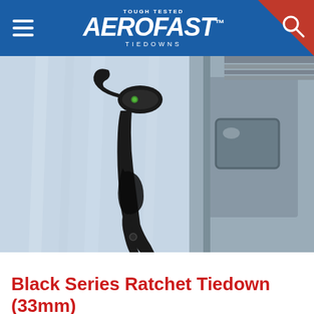Aerofast Tiedowns — Tough Tested
[Figure (photo): Close-up photo of a black ratchet tiedown strap with hook secured around wrapped pallets/cargo on a truck or loading dock. Dark metal ratchet mechanism visible with a loop of black strap hanging down.]
MORE INFO
Black Series Ratchet Tiedown (33mm)